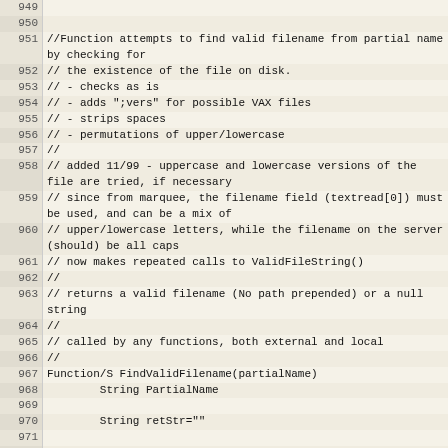Source code listing lines 949-976, showing FindValidFilename function comments and beginning of function definition in what appears to be a BASIC or similar language.